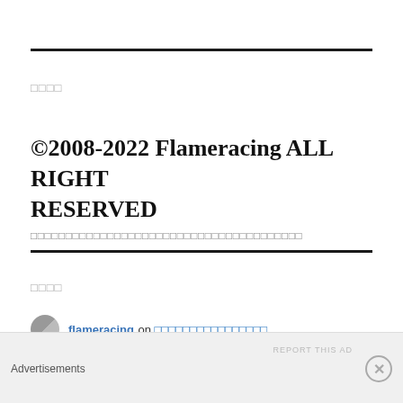□□□□
©2008-2022 Flameracing ALL RIGHT RESERVED
□□□□□□□□□□□□□□□□□□□□□□□□□□□□□□□□□□□□□□□
□□□□
flameracing on □□□□□□□□□□□□□□□□
Advertisements